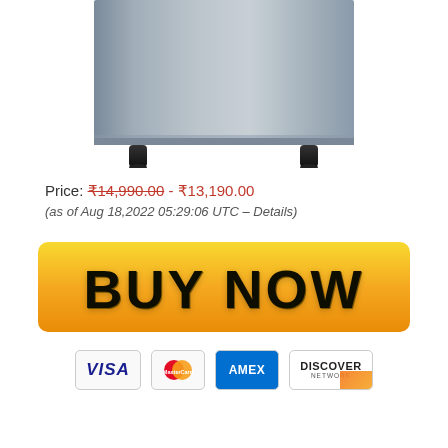[Figure (photo): Bottom portion of a stainless steel refrigerator on white background, showing the lower body and black feet/legs.]
Price: ₹14,990.00 - ₹13,190.00
(as of Aug 18,2022 05:29:06 UTC – Details)
[Figure (other): Yellow 'BUY NOW' button with gradient background and bold dark text]
[Figure (other): Payment method icons: VISA, MasterCard, AMEX, DISCOVER]